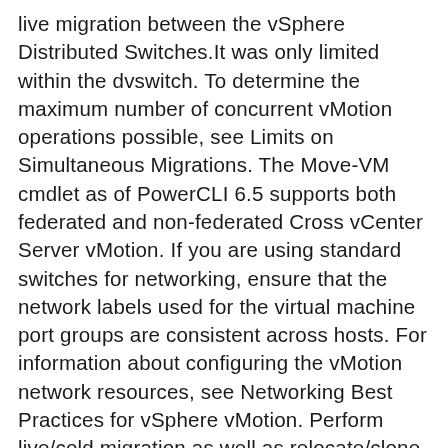live migration between the vSphere Distributed Switches.It was only limited within the dvswitch. To determine the maximum number of concurrent vMotion operations possible, see Limits on Simultaneous Migrations. The Move-VM cmdlet as of PowerCLI 6.5 supports both federated and non-federated Cross vCenter Server vMotion. If you are using standard switches for networking, ensure that the network labels used for the virtual machine port groups are consistent across hosts. For information about configuring the vMotion network resources, see Networking Best Practices for vSphere vMotion. Perform live/cold migration as well as relocate/clone operations, Works for migration tasks within and across vCenter servers, Select host/cluster/folder/resource pool as placement target, Supports both storage vMotion and shared datastore migration, Flexible configuration for VMs with multiple network interfaces. Notify me of follow-up comments by email. The maximum supported network round-trip time for vMotion migrations is 150 milliseconds. Migration with vMotion requires correctly configured network interfaces on source and target hosts. You can check out our PowerCLI video, hosted by Andy Syrewicze below. You know if is possible doing FT between data